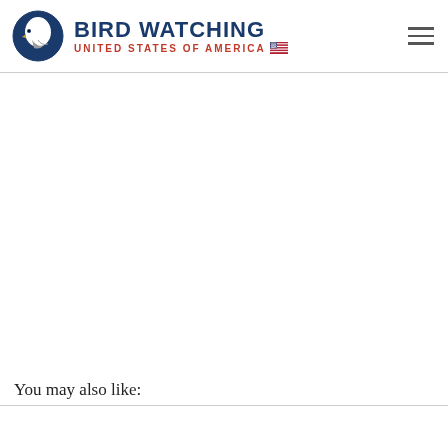[Figure (logo): Bird Watching United States of America logo with bald eagle in circular badge and site name]
You may also like: